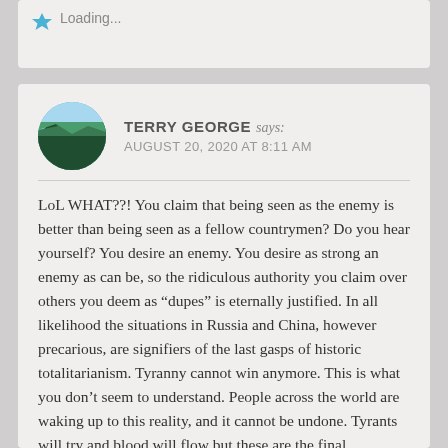Loading...
TERRY GEORGE says: AUGUST 20, 2020 AT 8:11 AM
LoL WHAT??! You claim that being seen as the enemy is better than being seen as a fellow countrymen? Do you hear yourself? You desire an enemy. You desire as strong an enemy as can be, so the ridiculous authority you claim over others you deem as “dupes” is eternally justified. In all likelihood the situations in Russia and China, however precarious, are signifiers of the last gasps of historic totalitarianism. Tyranny cannot win anymore. This is what you don’t seem to understand. People across the world are waking up to this reality, and it cannot be undone. Tyrants will try and blood will flow but these are the final